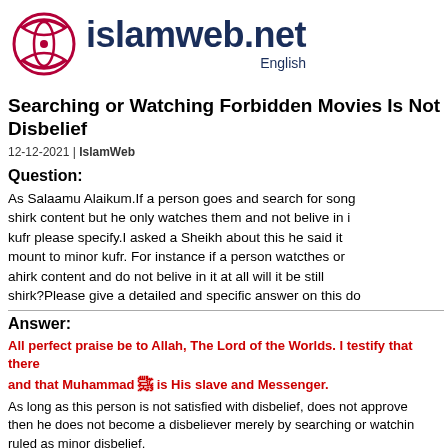[Figure (logo): islamweb.net logo with circular emblem in red/crimson and dark navy text, with 'English' subtitle]
Searching or Watching Forbidden Movies Is Not Disbelief
12-12-2021 | IslamWeb
Question:
As Salaamu Alaikum.If a person goes and search for songs, movies or shirk content but he only watches them and not belive in it does it amount to kufr please specify.I asked a Sheikh about this he said it does not amount to minor kufr. For instance if a person watcthes or listens to shirk or ahirk content and do not belive in it at all will it be still considered shirk?Please give a detailed and specific answer on this do.
Answer:
All perfect praise be to Allah, The Lord of the Worlds. I testify that there and that Muhammad ﷺ is His slave and Messenger.
As long as this person is not satisfied with disbelief, does not approve then he does not become a disbeliever merely by searching or watching ruled as minor disbelief.
However, it is not permissible to watch what includes these forbidde